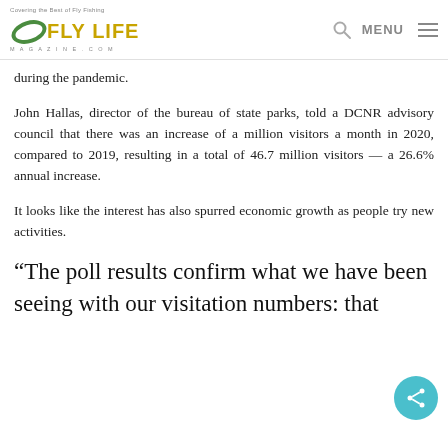Covering the Best of Fly Fishing — FLY LIFE MAGAZINE.COM — MENU
during the pandemic.
John Hallas, director of the bureau of state parks, told a DCNR advisory council that there was an increase of a million visitors a month in 2020, compared to 2019, resulting in a total of 46.7 million visitors — a 26.6% annual increase.
It looks like the interest has also spurred economic growth as people try new activities.
“The poll results confirm what we have been seeing with our visitation numbers: that